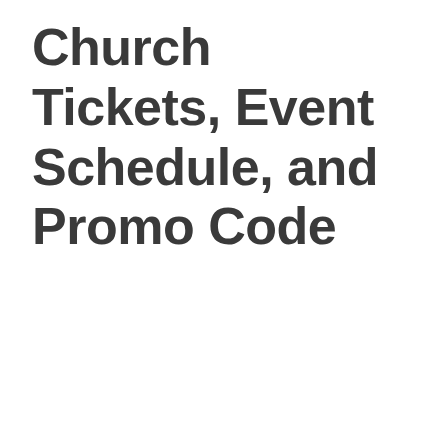Church Tickets, Event Schedule, and Promo Code